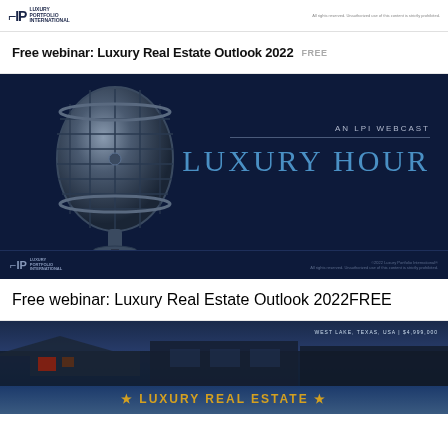LPI Luxury Portfolio International
Free webinar: Luxury Real Estate Outlook 2022 FREE
[Figure (illustration): Dark navy blue promotional image for 'Luxury Hour' LPI Webcast featuring a retro-style chrome microphone on the left and large text 'AN LPI WEBCAST' and 'LUXURY HOUR' on the right]
Free webinar: Luxury Real Estate Outlook 2022 FREE
[Figure (photo): Exterior photo of a luxury home at dusk with dark blue sky, modern architecture with flat roof and stone/wood exterior elements, text overlay reading house location West Lake, Texas and price $4,999,000]